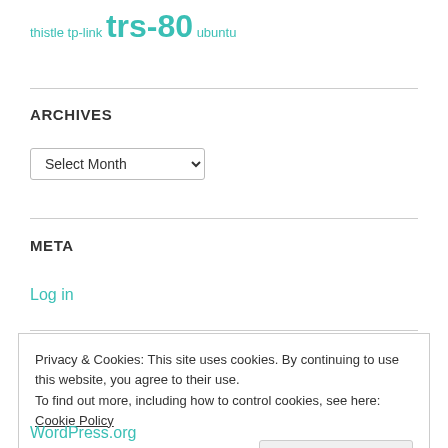thistle tp-link trs-80 ubuntu
ARCHIVES
Select Month
META
Log in
Privacy & Cookies: This site uses cookies. By continuing to use this website, you agree to their use.
To find out more, including how to control cookies, see here: Cookie Policy
Close and accept
WordPress.org